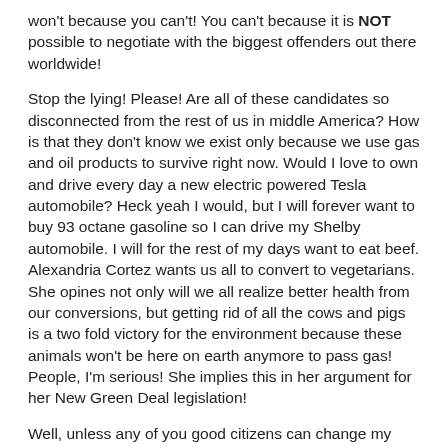won't because you can't! You can't because it is NOT possible to negotiate with the biggest offenders out there worldwide!
Stop the lying! Please! Are all of these candidates so disconnected from the rest of us in middle America? How is that they don't know we exist only because we use gas and oil products to survive right now. Would I love to own and drive every day a new electric powered Tesla automobile? Heck yeah I would, but I will forever want to buy 93 octane gasoline so I can drive my Shelby automobile. I will for the rest of my days want to eat beef. Alexandria Cortez wants us all to convert to vegetarians. She opines not only will we all realize better health from our conversions, but getting rid of all the cows and pigs is a two fold victory for the environment because these animals won't be here on earth anymore to pass gas! People, I'm serious! She implies this in her argument for her New Green Deal legislation!
Well, unless any of you good citizens can change my mind, I'm not buying a mountain so to dig my survival chambers. I'm not buying an extra toilet seat for my only five gallon bucket I own. No, I'll continue to use it to wash my gas and oil polluting cars. Over the next 12 years there will indeed be new weather related disasters. Will the Alexandria Cortez followers continue to...